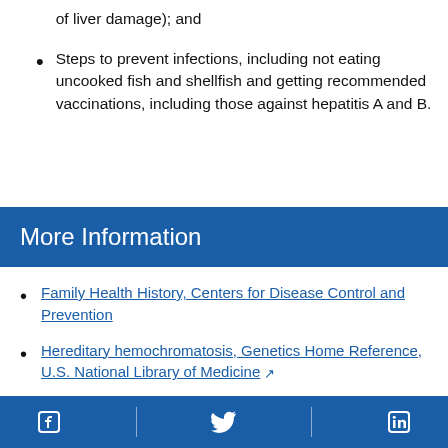of liver damage); and
Steps to prevent infections, including not eating uncooked fish and shellfish and getting recommended vaccinations, including those against hepatitis A and B.
More Information
Family Health History, Centers for Disease Control and Prevention
Hereditary hemochromatosis, Genetics Home Reference, U.S. National Library of Medicine [external link]
Hemochromatosis, Genetic and Rare Diseases Information Center, National Center
Facebook | Twitter | LinkedIn